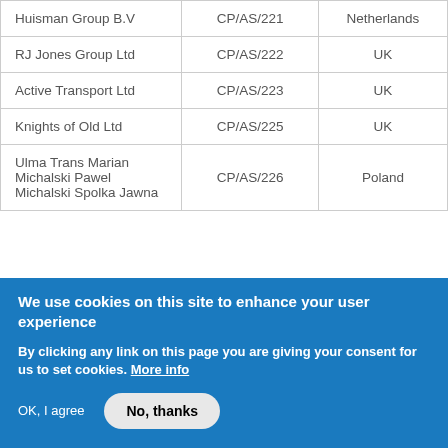|  | CP/AS/221 | Netherlands |
| --- | --- | --- |
| Huisman Group B.V | CP/AS/221 | Netherlands |
| RJ Jones Group Ltd | CP/AS/222 | UK |
| Active Transport Ltd | CP/AS/223 | UK |
| Knights of Old Ltd | CP/AS/225 | UK |
| Ulma Trans Marian Michalski Pawel Michalski Spolka Jawna | CP/AS/226 | Poland |
We use cookies on this site to enhance your user experience
By clicking any link on this page you are giving your consent for us to set cookies. More info
OK, I agree | No, thanks